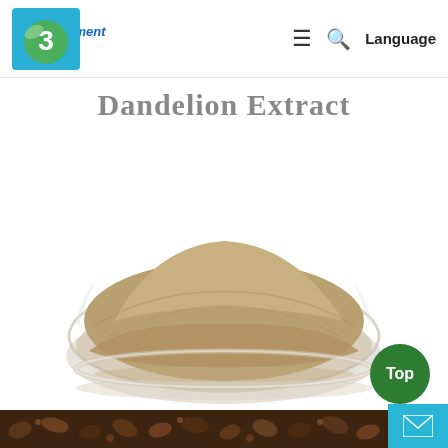Vnam Element Logo — ≡ 🔍 Language
Dandelion Extract
[Figure (photo): A glass bowl filled with tan/brown dandelion extract powder, photographed on white background.]
[Figure (photo): Bottom strip showing close-up of dark brown seeds or plant material.]